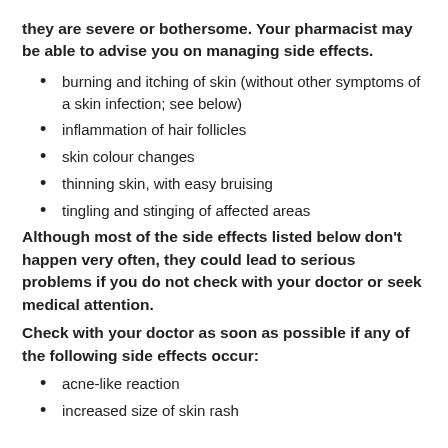they are severe or bothersome. Your pharmacist may be able to advise you on managing side effects.
burning and itching of skin (without other symptoms of a skin infection; see below)
inflammation of hair follicles
skin colour changes
thinning skin, with easy bruising
tingling and stinging of affected areas
Although most of the side effects listed below don't happen very often, they could lead to serious problems if you do not check with your doctor or seek medical attention.
Check with your doctor as soon as possible if any of the following side effects occur:
acne-like reaction
increased size of skin rash